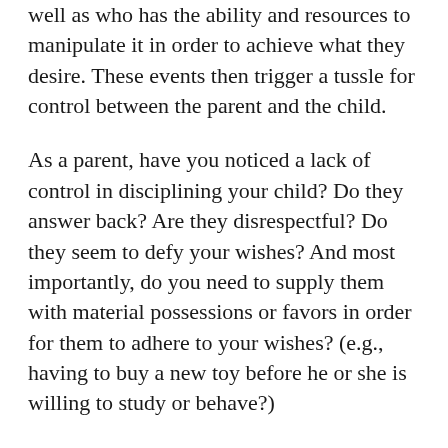well as who has the ability and resources to manipulate it in order to achieve what they desire. These events then trigger a tussle for control between the parent and the child.
As a parent, have you noticed a lack of control in disciplining your child? Do they answer back? Are they disrespectful? Do they seem to defy your wishes? And most importantly, do you need to supply them with material possessions or favors in order for them to adhere to your wishes? (e.g., having to buy a new toy before he or she is willing to study or behave?)
If you can relate of any of the situations I have mentioned above, chances are, your young child could be well on their way to becoming “spoiled.”  But depending on their age and openness to change, there is always a possibility to raise your child the way you